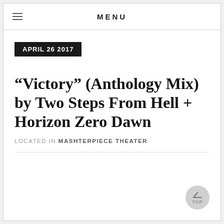MENU
APRIL 26 2017
“Victory” (Anthology Mix) by Two Steps From Hell + Horizon Zero Dawn
LOCATED IN MASHTERPIECE THEATER